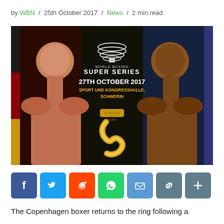by WBN / 25th October 2017 / News / 2 min read
[Figure (photo): World Boxing Super Series promotional image for 27th October 2017 fight at Sport und Kongresshalle, Schwerin. Two boxers face off with flags behind them and a golden trophy (Muhammad Ali Trophy) in the center.]
[Figure (infographic): Social sharing buttons: Facebook, Twitter, Reddit, WhatsApp, Email, Link, Plus/More]
The Copenhagen boxer returns to the ring following a